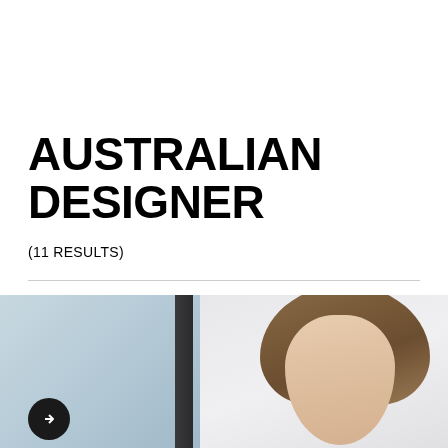AUSTRALIAN DESIGNER
(11 RESULTS)
[Figure (photo): Fashion model with brown wavy hair against a light background, partially cropped. A dark vertical panel divides the left and right sections of the image. A dark circular button is visible at the bottom left.]